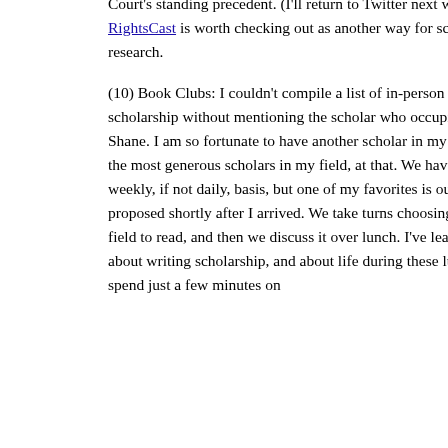Court's standing precedent. (I'll return to Twitter next week.) And Nancy Leong's RightsCast is worth checking out as another way for scholars to interact online about their research.
(10) Book Clubs: I couldn't compile a list of in-person opportunities to develop one's scholarship without mentioning the scholar who occupies the office next to mine: Peter Shane. I am so fortunate to have another scholar in my field at my law school. And one of the most generous scholars in my field, at that. We have many, many interactions on a weekly, if not daily, basis, but one of my favorites is our "book club" -- an idea Peter proposed shortly after I arrived. We take turns choosing a new piece of scholarship in our field to read, and then we discuss it over lunch. I've learned so much about my field, about writing scholarship, and about life during these lunches. To be sure, sometimes we spend just a few minutes on